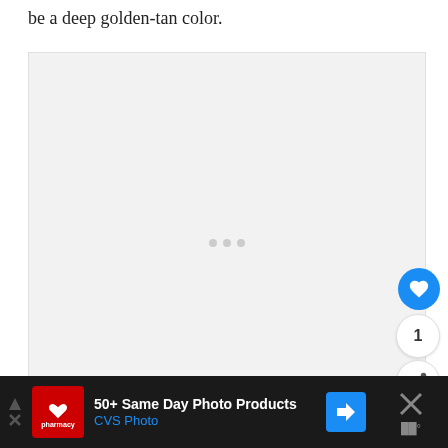be a deep golden-tan color.
[Figure (photo): Large image placeholder area with light gray background and three loading dots in center. Social interaction buttons (heart, count '1', share) on the right edge. Partial dark image visible at bottom right corner.]
[Figure (infographic): WHAT'S NEXT panel showing a dog thumbnail and text '10 Dog Breeds Most...' with a right arrow, linking to next article.]
[Figure (infographic): Advertisement bar: '50+ Same Day Photo Products CVS Photo' with CVS pharmacy logo and navigation icon on dark background.]